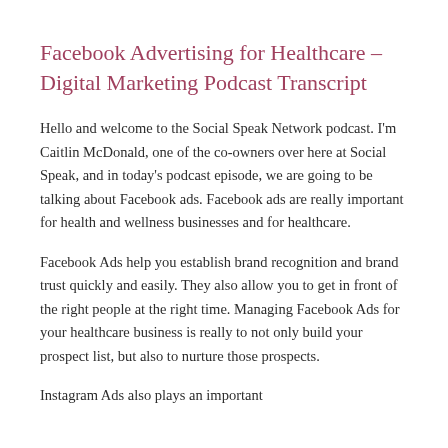Facebook Advertising for Healthcare – Digital Marketing Podcast Transcript
Hello and welcome to the Social Speak Network podcast. I'm Caitlin McDonald, one of the co-owners over here at Social Speak, and in today's podcast episode, we are going to be talking about Facebook ads. Facebook ads are really important for health and wellness businesses and for healthcare.
Facebook Ads help you establish brand recognition and brand trust quickly and easily. They also allow you to get in front of the right people at the right time. Managing Facebook Ads for your healthcare business is really to not only build your prospect list, but also to nurture those prospects.
Instagram Ads also plays an important